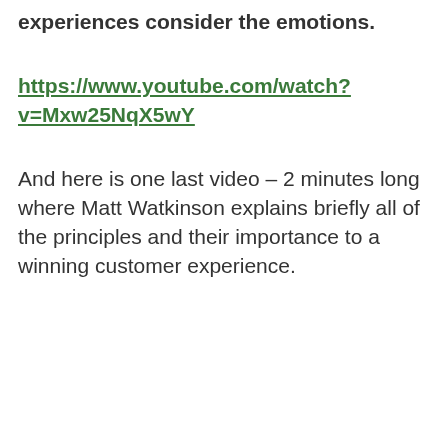experiences consider the emotions.
https://www.youtube.com/watch?v=Mxw25NqX5wY
And here is one last video – 2 minutes long where Matt Watkinson explains briefly all of the principles and their importance to a winning customer experience.